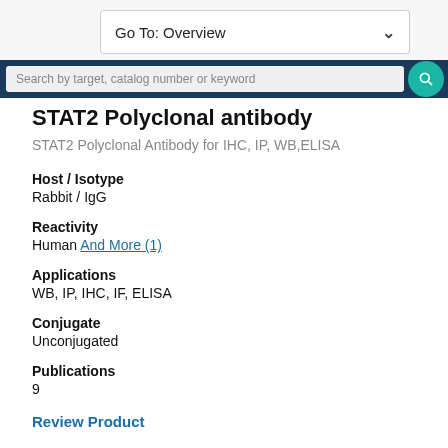Go To: Overview
Search by target, catalog number or keyword
STAT2 Polyclonal antibody
STAT2 Polyclonal Antibody for IHC, IP, WB,ELISA
Host / Isotype
Rabbit / IgG
Reactivity
Human And More (1)
Applications
WB, IP, IHC, IF, ELISA
Conjugate
Unconjugated
Publications
9
Review Product